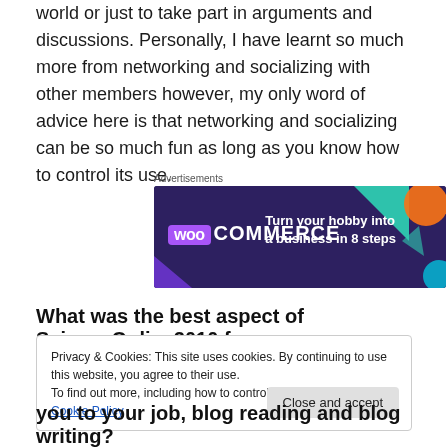world or just to take part in arguments and discussions. Personally, I have learnt so much more from networking and socializing with other members however, my only word of advice here is that networking and socializing can be so much fun as long as you know how to control its use.
[Figure (illustration): WooCommerce advertisement banner with dark purple background, teal and orange shapes, text 'Turn your hobby into a business in 8 steps']
Advertisements
What was the best aspect of ScienceOnline2010 for
Privacy & Cookies: This site uses cookies. By continuing to use this website, you agree to their use.
To find out more, including how to control cookies, see here: Cookie Policy
you to your job, blog reading and blog writing?